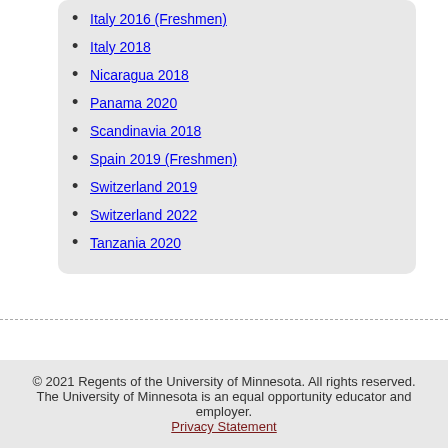Italy 2016 (Freshmen)
Italy 2018
Nicaragua 2018
Panama 2020
Scandinavia 2018
Spain 2019 (Freshmen)
Switzerland 2019
Switzerland 2022
Tanzania 2020
© 2021 Regents of the University of Minnesota. All rights reserved. The University of Minnesota is an equal opportunity educator and employer. Privacy Statement